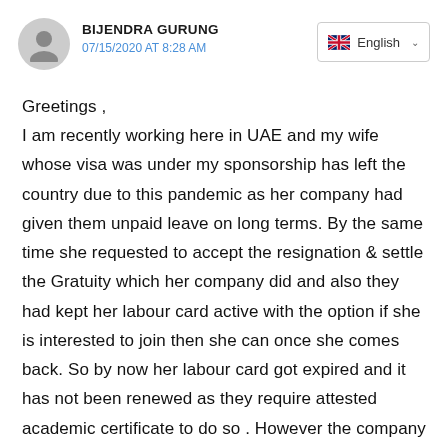BIJENDRA GURUNG
07/15/2020 AT 8:28 AM
Greetings ,
I am recently working here in UAE and my wife whose visa was under my sponsorship has left the country due to this pandemic as her company had given them unpaid leave on long terms. By the same time she requested to accept the resignation & settle the Gratuity which her company did and also they had kept her labour card active with the option if she is interested to join then she can once she comes back. So by now her labour card got expired and it has not been renewed as they require attested academic certificate to do so . However the company is not in position to re-open . She has a outstanding loan of 40K